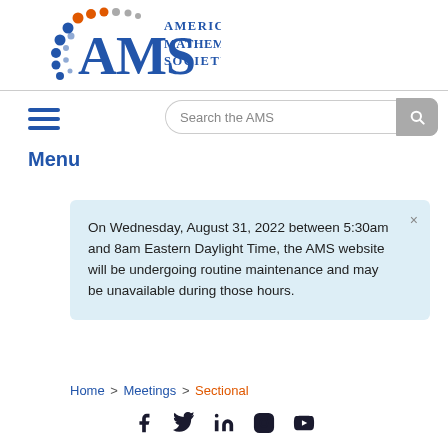[Figure (logo): American Mathematical Society (AMS) logo with colorful dot arc and blue text]
[Figure (screenshot): Search bar with text 'Search the AMS' and a grey search button]
[Figure (infographic): Hamburger menu icon (three horizontal blue lines)]
Menu
On Wednesday, August 31, 2022 between 5:30am and 8am Eastern Daylight Time, the AMS website will be undergoing routine maintenance and may be unavailable during those hours.
Home > Meetings > Sectional
[Figure (infographic): Social media icons: Facebook, Twitter, LinkedIn, Instagram, YouTube]